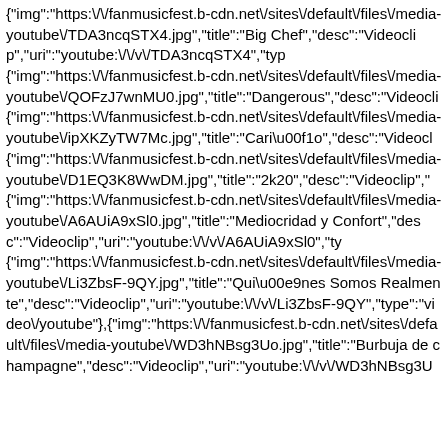{"img":"https:\/\/fanmusicfest.b-cdn.net\/sites\/default\/files\/media-youtube\/TDA3ncqSTX4.jpg","title":"Big Chef","desc":"Videoclip","uri":"youtube:\/\/v\/TDA3ncqSTX4","typ {"img":"https:\/\/fanmusicfest.b-cdn.net\/sites\/default\/files\/media-youtube\/QOFzJ7wnMU0.jpg","title":"Dangerous","desc":"Videocli {"img":"https:\/\/fanmusicfest.b-cdn.net\/sites\/default\/files\/media-youtube\/ipXKZyTW7Mc.jpg","title":"Cari\u00f1o","desc":"Videocl {"img":"https:\/\/fanmusicfest.b-cdn.net\/sites\/default\/files\/media-youtube\/D1EQ3K8WwDM.jpg","title":"2k20","desc":"Videoclip", {"img":"https:\/\/fanmusicfest.b-cdn.net\/sites\/default\/files\/media-youtube\/A6AUiA9xSl0.jpg","title":"Mediocridad y Confort","desc":"Videoclip","uri":"youtube:\/\/v\/A6AUiA9xSl0","ty {"img":"https:\/\/fanmusicfest.b-cdn.net\/sites\/default\/files\/media-youtube\/Li3ZbsF-9QY.jpg","title":"Qui\u00e9nes Somos Realmente","desc":"Videoclip","uri":"youtube:\/\/v\/Li3ZbsF-9QY","type":"video\/youtube"},{"img":"https:\/\/fanmusicfest.b-cdn.net\/sites\/default\/files\/media-youtube\/WD3hNBsg3Uo.jpg","title":"Burbuja de champagne","desc":"Videoclip","uri":"youtube:\/\/v\/WD3hNBsg3U